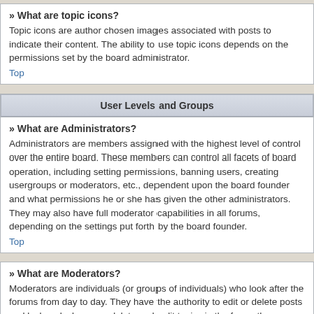» What are topic icons?
Topic icons are author chosen images associated with posts to indicate their content. The ability to use topic icons depends on the permissions set by the board administrator.
Top
User Levels and Groups
» What are Administrators?
Administrators are members assigned with the highest level of control over the entire board. These members can control all facets of board operation, including setting permissions, banning users, creating usergroups or moderators, etc., dependent upon the board founder and what permissions he or she has given the other administrators. They may also have full moderator capabilities in all forums, depending on the settings put forth by the board founder.
Top
» What are Moderators?
Moderators are individuals (or groups of individuals) who look after the forums from day to day. They have the authority to edit or delete posts and lock, unlock, move, delete and split topics in the forum they moderate. Generally, moderators are present to prevent